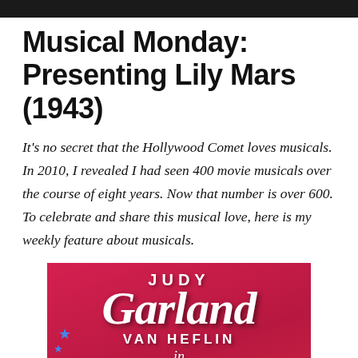Musical Monday: Presenting Lily Mars (1943)
It's no secret that the Hollywood Comet loves musicals. In 2010, I revealed I had seen 400 movie musicals over the course of eight years. Now that number is over 600. To celebrate and share this musical love, here is my weekly feature about musicals.
[Figure (photo): Movie poster for 'Presenting Lily Mars' (1943) featuring Judy Garland and Van Heflin. Pink/red background with large white script text reading 'Judy Garland', 'VAN HEFLIN', 'in', and yellow block letters reading 'PRESENTING' at the bottom. Small blue stars on the left side.]